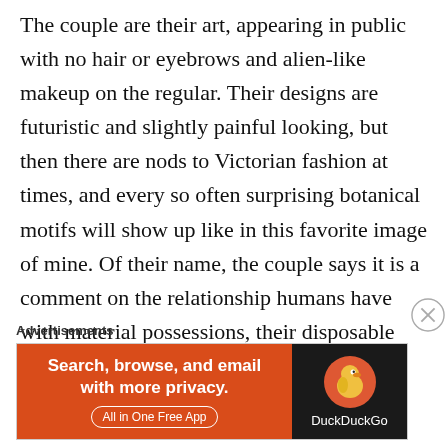The couple are their art, appearing in public with no hair or eyebrows and alien-like makeup on the regular. Their designs are futuristic and slightly painful looking, but then there are nods to Victorian fashion at times, and every so often surprising botanical motifs will show up like in this favorite image of mine. Of their name, the couple says it is a comment on the relationship humans have with material possessions, their disposable nature. They also claim
Advertisements
[Figure (other): DuckDuckGo advertisement banner with orange left panel reading 'Search, browse, and email with more privacy. All in One Free App' and dark right panel with DuckDuckGo duck logo and brand name.]